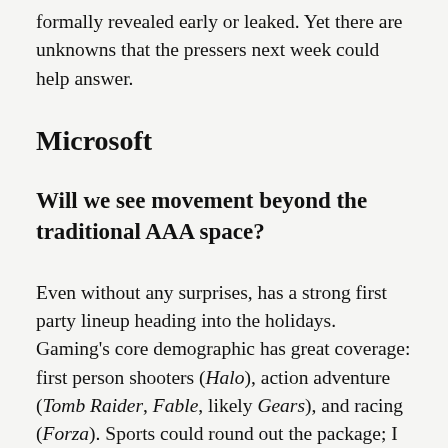formally revealed early or leaked. Yet there are unknowns that the pressers next week could help answer.
Microsoft
Will we see movement beyond the traditional AAA space?
Even without any surprises, has a strong first party lineup heading into the holidays. Gaming's core demographic has great coverage: first person shooters (Halo), action adventure (Tomb Raider, Fable, likely Gears), and racing (Forza). Sports could round out the package; I suspect we'll see Joe Montana Football popup